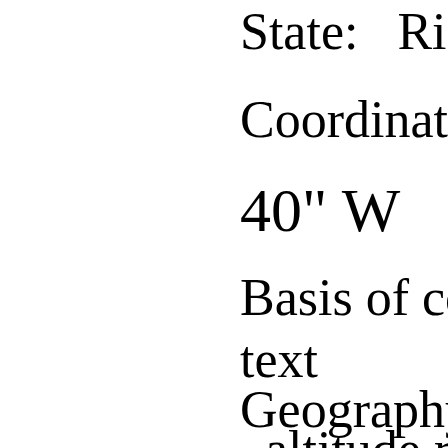State:   Rio Gran
Coordinate:   27°
40" W
Basis of coordina
text
Geography comm
altitude range
...